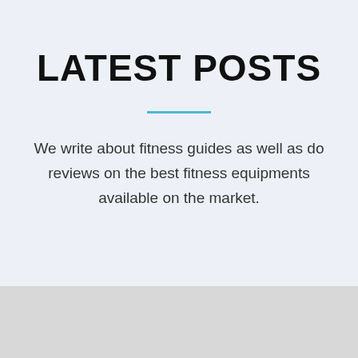LATEST POSTS
We write about fitness guides as well as do reviews on the best fitness equipments available on the market.